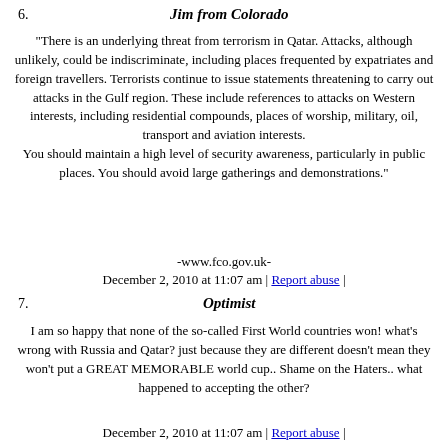6.   Jim from Colorado
"There is an underlying threat from terrorism in Qatar. Attacks, although unlikely, could be indiscriminate, including places frequented by expatriates and foreign travellers. Terrorists continue to issue statements threatening to carry out attacks in the Gulf region. These include references to attacks on Western interests, including residential compounds, places of worship, military, oil, transport and aviation interests. You should maintain a high level of security awareness, particularly in public places. You should avoid large gatherings and demonstrations."
-www.fco.gov.uk-
December 2, 2010 at 11:07 am | Report abuse |
7.   Optimist
I am so happy that none of the so-called First World countries won! what's wrong with Russia and Qatar? just because they are different doesn't mean they won't put a GREAT MEMORABLE world cup.. Shame on the Haters.. what happened to accepting the other?
December 2, 2010 at 11:07 am | Report abuse |